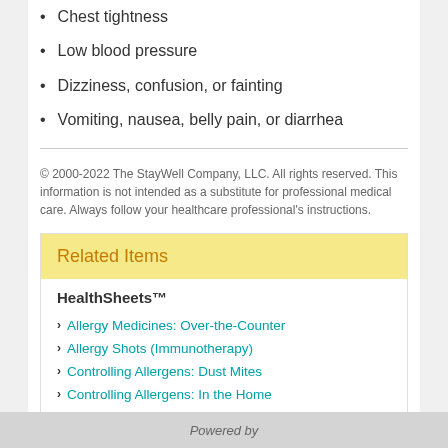Chest tightness
Low blood pressure
Dizziness, confusion, or fainting
Vomiting, nausea, belly pain, or diarrhea
© 2000-2022 The StayWell Company, LLC. All rights reserved. This information is not intended as a substitute for professional medical care. Always follow your healthcare professional's instructions.
Related Items
HealthSheets™
Allergy Medicines: Over-the-Counter
Allergy Shots (Immunotherapy)
Controlling Allergens: Dust Mites
Controlling Allergens: In the Home
Controlling Allergens: Mold
View All 24
Powered by